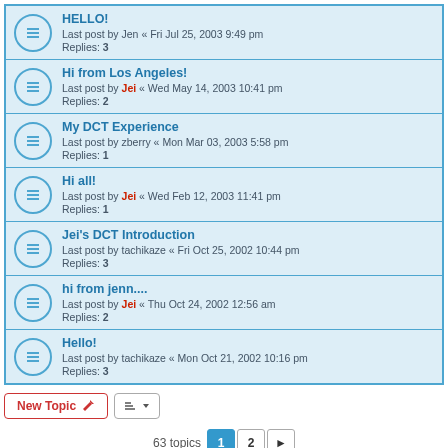HELLO! Last post by Jen « Fri Jul 25, 2003 9:49 pm Replies: 3
Hi from Los Angeles! Last post by Jei « Wed May 14, 2003 10:41 pm Replies: 2
My DCT Experience Last post by zberry « Mon Mar 03, 2003 5:58 pm Replies: 1
Hi all! Last post by Jei « Wed Feb 12, 2003 11:41 pm Replies: 1
Jei's DCT Introduction Last post by tachikaze « Fri Oct 25, 2002 10:44 pm Replies: 3
hi from jenn.... Last post by Jei « Thu Oct 24, 2002 12:56 am Replies: 2
Hello! Last post by tachikaze « Mon Oct 21, 2002 10:16 pm Replies: 3
New Topic  63 topics  1  2  >  Jump to  WHO IS ONLINE